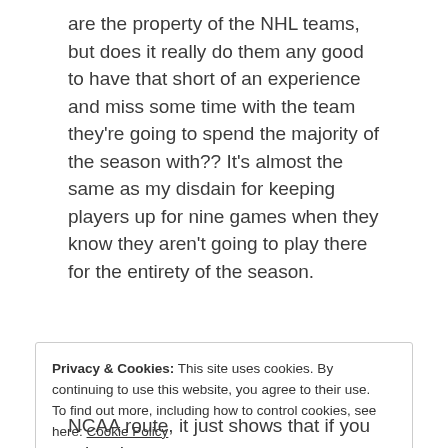are the property of the NHL teams, but does it really do them any good to have that short of an experience and miss some time with the team they're going to spend the majority of the season with?? It's almost the same as my disdain for keeping players up for nine games when they know they aren't going to play there for the entirety of the season.
[Figure (screenshot): Jetpack advertisement banner: green background with Jetpack logo (lightning bolt in circle) and text 'Jetpack Back up your site']
REPORT THIS AD
Privacy & Cookies: This site uses cookies. By continuing to use this website, you agree to their use.
To find out more, including how to control cookies, see here: Cookie Policy
Close and accept
NCAA route, it just shows that if you raise the age or